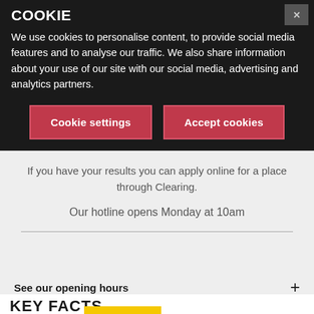We use cookies to personalise content, to provide social media features and to analyse our traffic. We also share information about your use of our site with our social media, advertising and analytics partners.
Cookie settings
Accept cookies
If you have your results you can apply online for a place through Clearing.
Our hotline opens Monday at 10am
See our opening hours
KEY FACTS